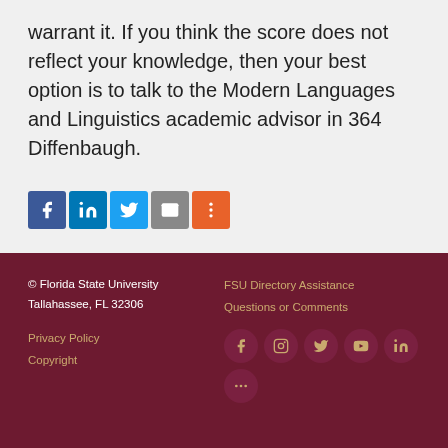warrant it. If you think the score does not reflect your knowledge, then your best option is to talk to the Modern Languages and Linguistics academic advisor in 364 Diffenbaugh.
[Figure (infographic): Social share buttons: Facebook, LinkedIn, Twitter, Email, More]
© Florida State University Tallahassee, FL 32306 | Privacy Policy | Copyright | FSU Directory Assistance | Questions or Comments | Social media icons: Facebook, Instagram, Twitter, YouTube, LinkedIn, More